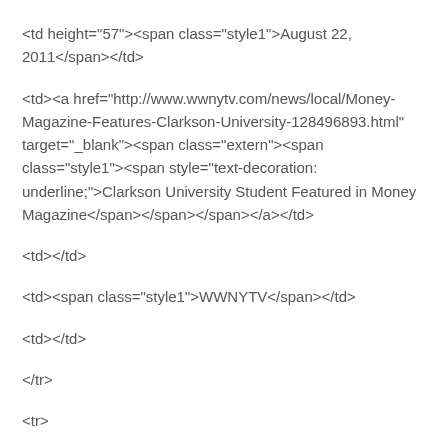<td height="57"><span class="style1">August 22, 2011</span></td>
<td><a href="http://www.wwnytv.com/news/local/Money-Magazine-Features-Clarkson-University-128496893.html" target="_blank"><span class="extern"><span class="style1"><span style="text-decoration: underline;">Clarkson University Student Featured in Money Magazine</span></span></span></a></td>
<td></td>
<td><span class="style1">WWNYTV</span></td>
<td></td>
</tr>
<tr>